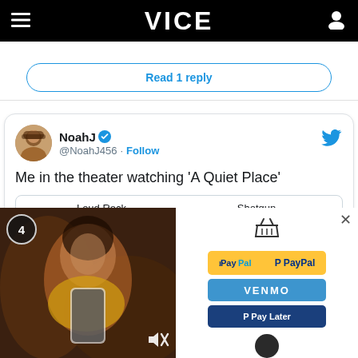VICE
Read 1 reply
[Figure (screenshot): Tweet from @NoahJ456 (NoahJ, verified) with text: Me in the theater watching 'A Quiet Place'. Below is a meme image showing two columns: Loud Rock Concert (concert photo) and Shotgun Blast (shotgun image).]
[Figure (screenshot): Bottom overlay showing a video (woman in yellow top smiling with phone) on left, and an advertisement card with PayPal, Venmo, Pay Later buttons on right. Counter showing 4 in top left, close X button top right, mute icon bottom right.]